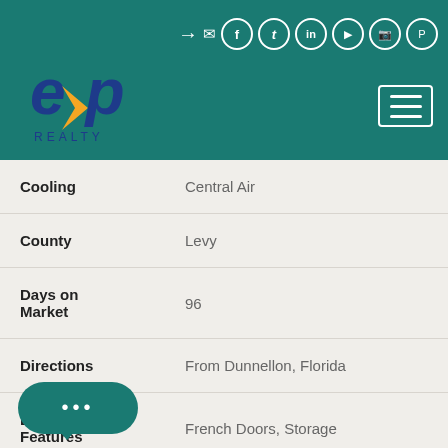[Figure (logo): eXp Realty logo in dark blue italic text with orange chevron accent, on teal background header with social media icons and hamburger menu]
| Property | Value |
| --- | --- |
| Cooling | Central Air |
| County | Levy |
| Days on Market | 96 |
| Directions | From Dunnellon, Florida |
| Exterior Features | French Doors, Storage |
| Facing | South |